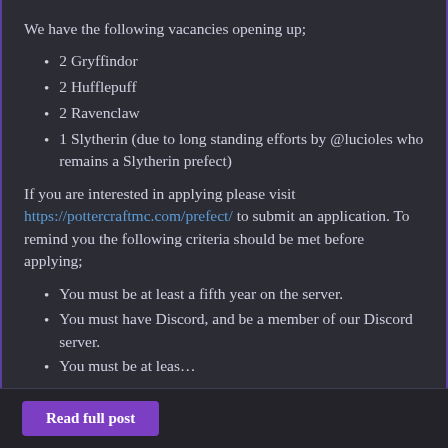We have the following vacancies opening up;
2 Gryffindor
2 Hufflepuff
2 Ravenclaw
1 Slytherin (due to long standing efforts by @lucioles who remains a Slytherin prefect)
If you are interested in applying please visit https://pottercraftmc.com/prefect/ to submit an application. To remind you the following criteria should be met before applying;
You must be at least a fifth year on the server.
You must have Discord, and be a member of our Discord server.
You must be at leas…
Read full post